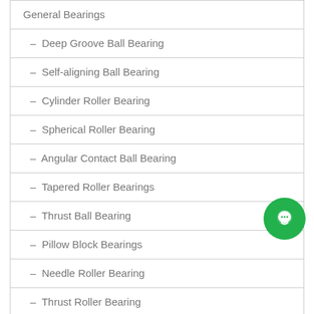General Bearings
– Deep Groove Ball Bearing
– Self-aligning Ball Bearing
– Cylinder Roller Bearing
– Spherical Roller Bearing
– Angular Contact Ball Bearing
– Tapered Roller Bearings
– Thrust Ball Bearing
– Pillow Block Bearings
– Needle Roller Bearing
– Thrust Roller Bearing
Specialized Bearings